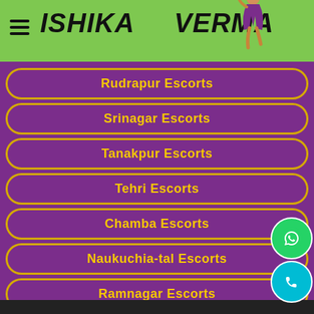[Figure (logo): Ishika Verma website header with logo text and illustrated figure on green background]
Rudrapur Escorts
Srinagar Escorts
Tanakpur Escorts
Tehri Escorts
Chamba Escorts
Naukuchia-tal Escorts
Ramnagar Escorts
Tehri-garhwal Escorts
Udham-singh-nagar Escorts
Uttarkashi Escorts